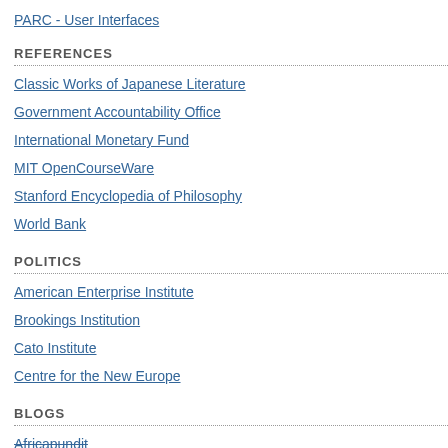PARC - User Interfaces
REFERENCES
Classic Works of Japanese Literature
Government Accountability Office
International Monetary Fund
MIT OpenCourseWare
Stanford Encyclopedia of Philosophy
World Bank
POLITICS
American Enterprise Institute
Brookings Institution
Cato Institute
Centre for the New Europe
BLOGS
Africapundit
Posted by: Jim | March 01, 2006 at 06
Eh? Being a constitutional scho when voting, it's the evaluation determine.
Posted by: Factory | March 02, 2006 a
I'm a little skeptical of the real i all impressed by the fact that no in a telephone interview especia I would never have thought to li grievances"). That most people I would tie this to not knowing w located in the constitution. If yo constitutionally protected right t least) that most people would ge
Posted by: Andrew | March 02, 2006 a
[ That most people can't name a
Wait, I take that back - it says th